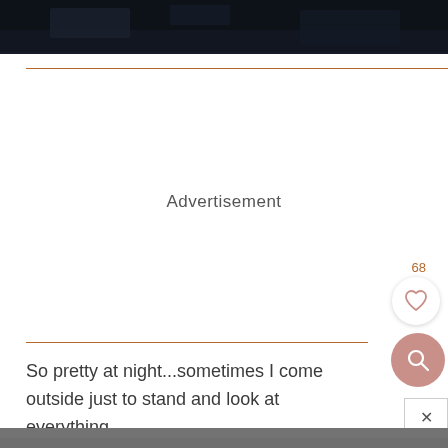[Figure (photo): Dark nighttime exterior photo at the top of the page, dark blue/black tones suggesting outdoor structure at night]
Advertisement
So pretty at night...sometimes I come outside just to stand and look at everything.